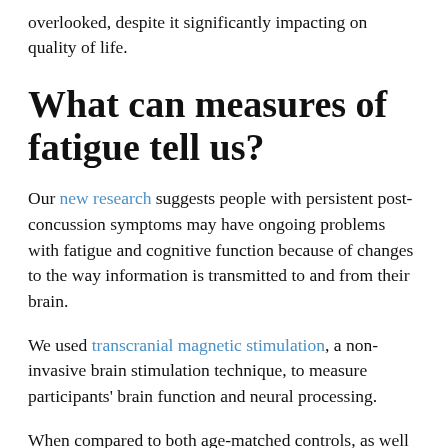overlooked, despite it significantly impacting on quality of life.
What can measures of fatigue tell us?
Our new research suggests people with persistent post-concussion symptoms may have ongoing problems with fatigue and cognitive function because of changes to the way information is transmitted to and from their brain.
We used transcranial magnetic stimulation, a non-invasive brain stimulation technique, to measure participants' brain function and neural processing.
When compared to both age-matched controls, as well as a group of people who have recovered from a